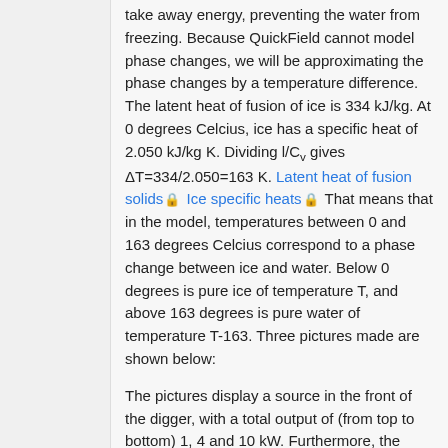take away energy, preventing the water from freezing. Because QuickField cannot model phase changes, we will be approximating the phase changes by a temperature difference. The latent heat of fusion of ice is 334 kJ/kg. At 0 degrees Celcius, ice has a specific heat of 2.050 kJ/kg K. Dividing l/Cv gives ΔT=334/2.050=163 K. Latent heat of fusion solids 🔒 Ice specific heats 🔒 That means that in the model, temperatures between 0 and 163 degrees Celcius correspond to a phase change between ice and water. Below 0 degrees is pure ice of temperature T, and above 163 degrees is pure water of temperature T-163. Three pictures made are shown below:
The pictures display a source in the front of the digger, with a total output of (from top to bottom) 1, 4 and 10 kW. Furthermore, the isotherms in the picture are spaced by 163 degrees Celsius, starting at -163 degrees. That means that the outermost isotherm indicates still far below freezing temperatures, but the 2nd and 3rd outermost isotherms indicate the